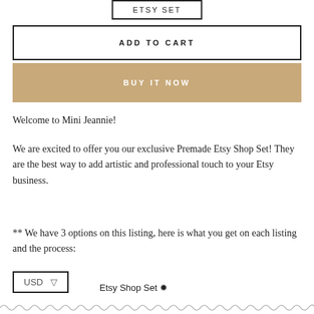ETSY SET
ADD TO CART
BUY IT NOW
Welcome to Mini Jeannie!
We are excited to offer you our exclusive Premade Etsy Shop Set! They are the best way to add artistic and professional touch to your Etsy business.
** We have 3 options on this listing, here is what you get on each listing and the process:
USD  ▾  Etsy Shop Set ✱